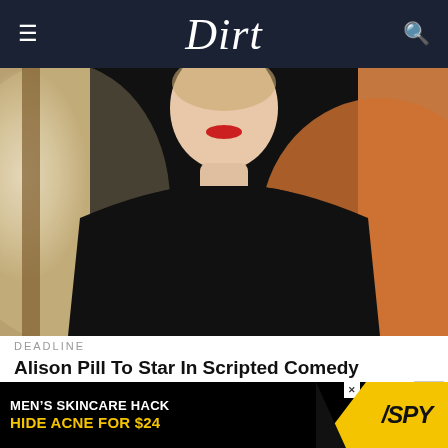Dirt
[Figure (photo): A woman with red lipstick wearing a black top, photographed from shoulders up, with a blurred warm-toned background]
DEADLINE
Alison Pill To Star In Scripted Comedy Podcast ‘The Rubber Room’ For SiriusXM
6 HOURS AGO
[Figure (other): Advertisement banner: MEN'S SKINCARE HACK HIDE ACNE FOR $24 with SPY logo]